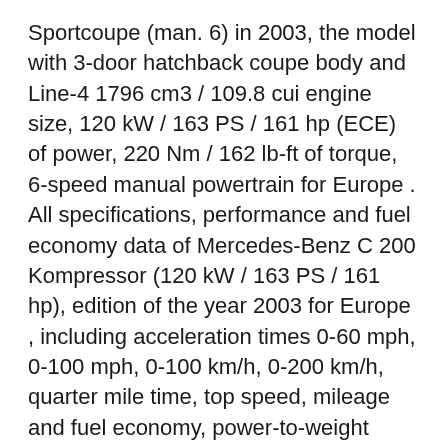Sportcoupe (man. 6) in 2003, the model with 3-door hatchback coupe body and Line-4 1796 cm3 / 109.8 cui engine size, 120 kW / 163 PS / 161 hp (ECE) of power, 220 Nm / 162 lb-ft of torque, 6-speed manual powertrain for Europe . All specifications, performance and fuel economy data of Mercedes-Benz C 200 Kompressor (120 kW / 163 PS / 161 hp), edition of the year 2003 for Europe , including acceleration times 0-60 mph, 0-100 mph, 0-100 km/h, 0-200 km/h, quarter mile time, top speed, mileage and fuel economy, power-to-weight ratio, dimensions, drag coefficient, etc.
View all 281 consumer vehicle reviews for the Used 2003 Mercedes-Benz C